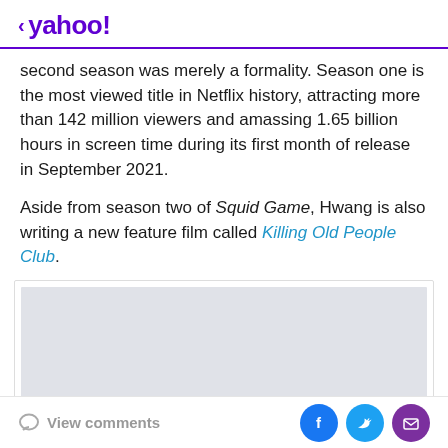< yahoo!
second season was merely a formality. Season one is the most viewed title in Netflix history, attracting more than 142 million viewers and amassing 1.65 billion hours in screen time during its first month of release in September 2021.
Aside from season two of Squid Game, Hwang is also writing a new feature film called Killing Old People Club.
[Figure (other): Gray advertisement placeholder box]
View comments | social share icons: Facebook, Twitter, Email